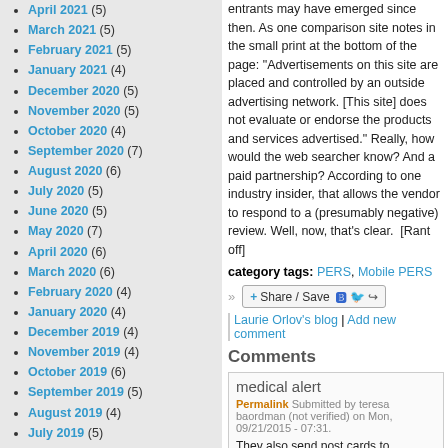April 2021 (5)
March 2021 (5)
February 2021 (5)
January 2021 (4)
December 2020 (5)
November 2020 (5)
October 2020 (4)
September 2020 (7)
August 2020 (6)
July 2020 (5)
June 2020 (5)
May 2020 (7)
April 2020 (6)
March 2020 (6)
February 2020 (4)
January 2020 (4)
December 2019 (4)
November 2019 (4)
October 2019 (6)
September 2019 (5)
August 2019 (4)
July 2019 (5)
June 2019 (4)
May 2019 (5)
April 2019 (5)
March 2019 (4)
entrants may have emerged since then. As one comparison site notes in the small print at the bottom of the page: "Advertisements on this site are placed and controlled by an outside advertising network. [This site] does not evaluate or endorse the products and services advertised." Really, how would the web searcher know? And a paid partnership? According to one industry insider, that allows the vendor to respond to a (presumably negative) review. Well, now, that's clear.  [Rant off]
category tags: PERS, Mobile PERS
Share / Save
Laurie Orlov's blog | Add new comment
Comments
medical alert
Permalink Submitted by teresa baordman (not verified) on Mon, 09/21/2015 - 07:31.
They also send post cards to